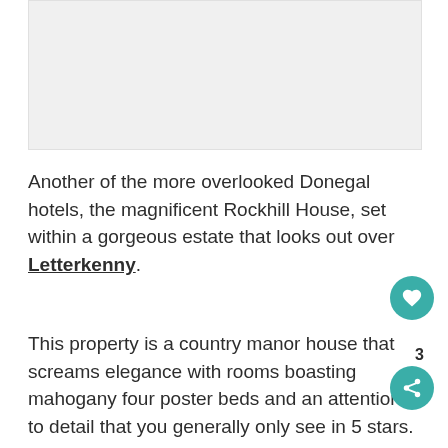[Figure (photo): Photograph placeholder area, light grey rectangle]
Another of the more overlooked Donegal hotels, the magnificent Rockhill House, set within a gorgeous estate that looks out over Letterkenny.
This property is a country manor house that screams elegance with rooms boasting mahogany four poster beds and an attention to detail that you generally only see in 5 stars.
There’s several places to retreat to in the evening, including the Stewart Dining Room (for breakfast, and The Chapel for lunch, The ...